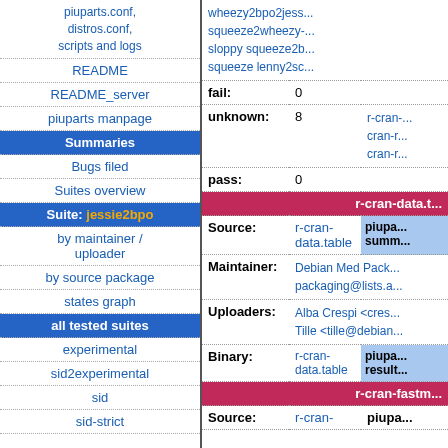| piuparts.conf, distros.conf, scripts and logs |
| README |
| README_server |
| piuparts manpage |
| Summaries |
| Bugs filed |
| Suites overview |
| Suite: jessie2bpo |
| by maintainer / uploader |
| by source package |
| states graph |
| all tested suites |
| experimental |
| sid2experimental |
| sid |
| sid-strict |
|  | wheezy2bpo2jess... squeeze2wheezy-... sloppy squeeze2b... squeeze lenny2sc... |
| fail: | 0 |  |
| unknown: | 8 | r-cran-... cran-r... cran-r... |
| pass: | 0 |  |
| r-cran-data.t... |  |  |
| Source: | r-cran-data.table | piupa... summ... |
| Maintainer: | Debian Med Pack... packaging@lists.a... |  |
| Uploaders: | Alba Crespi <cres... Tille <tille@debian... |  |
| Binary: | r-cran-data.table | piupa... result... |
| r-cran-fastm... |  |  |
| Source: | r-cran- | piupa... |